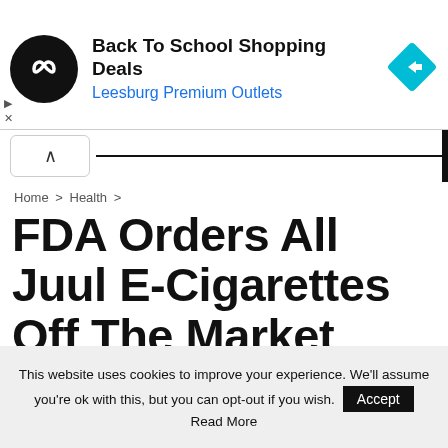[Figure (screenshot): Advertisement banner: Back To School Shopping Deals at Leesburg Premium Outlets, with circular logo and blue diamond navigation icon]
Home > Health >
FDA Orders All Juul E-Cigarettes Off The Market
By Merry — On Jun 23, 2022  HEALTH
This website uses cookies to improve your experience. We'll assume you're ok with this, but you can opt-out if you wish. Accept Read More